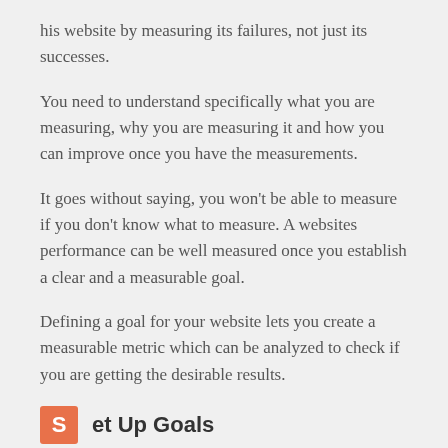his website by measuring its failures, not just its successes.
You need to understand specifically what you are measuring, why you are measuring it and how you can improve once you have the measurements.
It goes without saying, you won't be able to measure if you don't know what to measure. A websites performance can be well measured once you establish a clear and a measurable goal.
Defining a goal for your website lets you create a measurable metric which can be analyzed to check if you are getting the desirable results.
et Up Goals